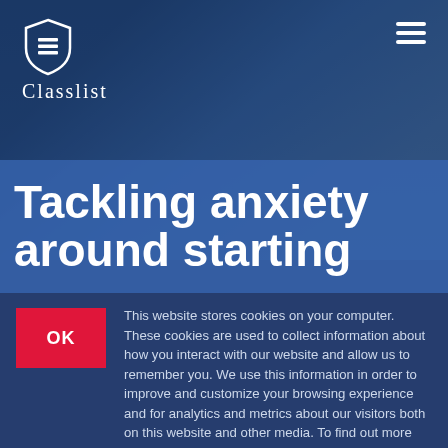[Figure (logo): Classlist shield logo with three horizontal bars and the word 'Classlist' below in serif font, white on dark blue background]
Tackling anxiety around starting
This website stores cookies on your computer. These cookies are used to collect information about how you interact with our website and allow us to remember you. We use this information in order to improve and customize your browsing experience and for analytics and metrics about our visitors both on this website and other media. To find out more about the cookies we use, see our Privacy Policy.